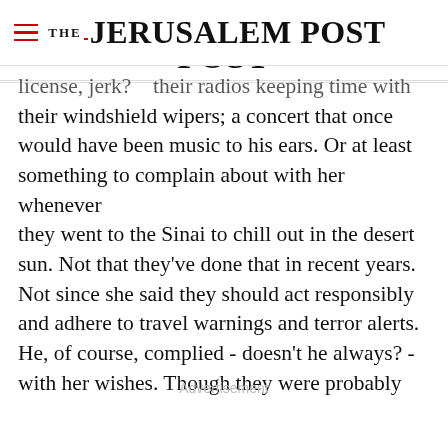THE JERUSALEM POST
license, jerk?    their radios keeping time with their windshield wipers; a concert that once would have been music to his ears. Or at least something to complain about with her whenever they went to the Sinai to chill out in the desert sun. Not that they've done that in recent years. Not since she said they should act responsibly and adhere to travel warnings and terror alerts. He, of course, complied - doesn't he always? - with her wishes. Though they were probably
Advertisement